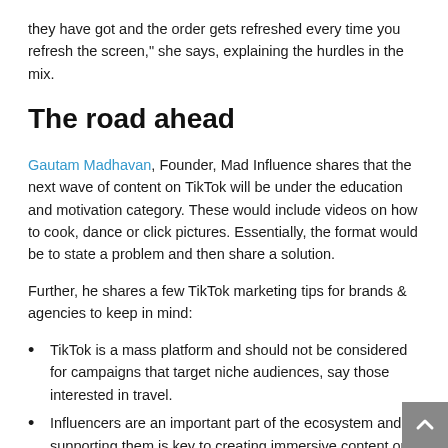they have got and the order gets refreshed every time you refresh the screen," she says, explaining the hurdles in the mix.
The road ahead
Gautam Madhavan, Founder, Mad Influence shares that the next wave of content on TikTok will be under the education and motivation category. These would include videos on how to cook, dance or click pictures. Essentially, the format would be to state a problem and then share a solution.
Further, he shares a few TikTok marketing tips for brands & agencies to keep in mind:
TikTok is a mass platform and should not be considered for campaigns that target niche audiences, say those interested in travel.
Influencers are an important part of the ecosystem and supporting them is key to creating immersive content on the